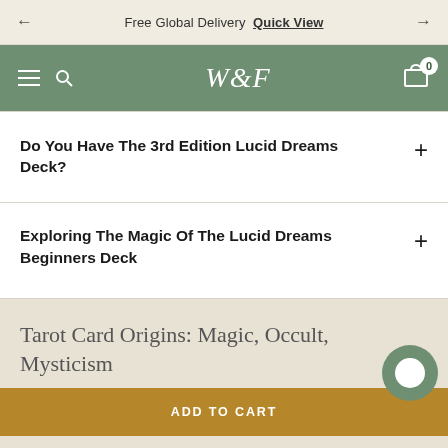Free Global Delivery  Quick View
W&F
Do You Have The 3rd Edition Lucid Dreams Deck?
Exploring The Magic Of The Lucid Dreams Beginners Deck
Tarot Card Origins: Magic, Occult, Mysticism
ADD TO CART
What Are The Origins Of Tarot?